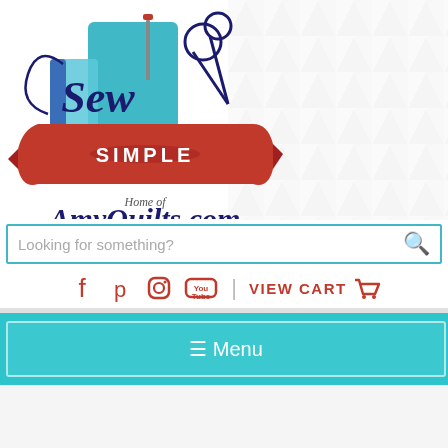[Figure (logo): Sew Simple Home of AmyQuilts.com logo with sewing themed illustration including thread spool, needle, scissors, and decorative ribbon banner. Dark navy script text 'Sew' and 'AmyQuilts.com', red ribbon with white text 'SIMPLE', italic text 'Home of'.]
Looking for something?
VIEW CART
≡ Menu